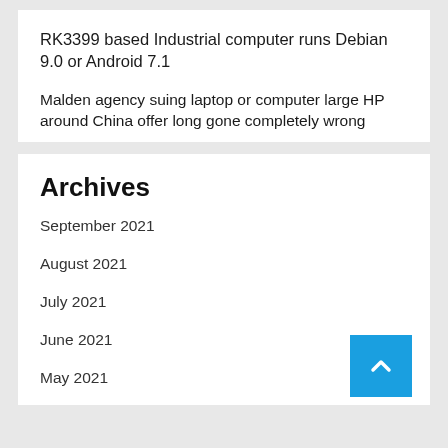RK3399 based Industrial computer runs Debian 9.0 or Android 7.1
Malden agency suing laptop or computer large HP around China offer long gone completely wrong
Archives
September 2021
August 2021
July 2021
June 2021
May 2021